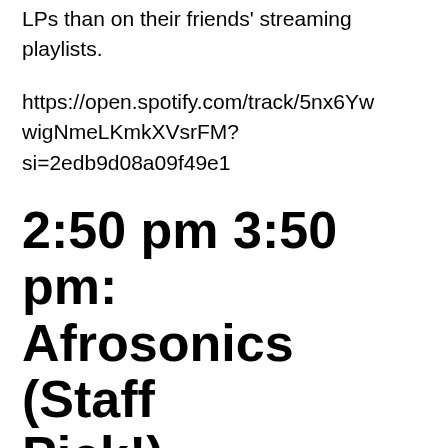LPs than on their friends' streaming playlists.
https://open.spotify.com/track/5nx6YwwigNmeLKmkXVsrFM?si=2edb9d08a09f49e1
2:50 pm 3:50 pm: Afrosonics (Staff Pick!)
Afrosonics creates music featuring a collective of musicians from the Middle East, Europe, Africa, South America, and